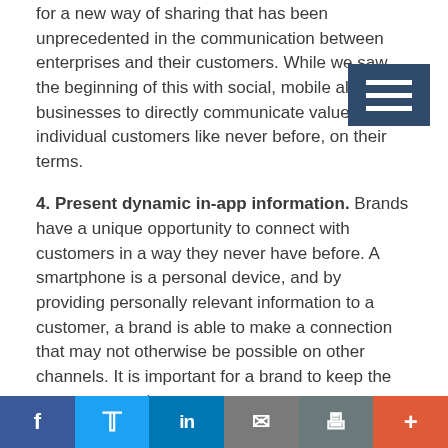for a new way of sharing that has been unprecedented in the communication between enterprises and their customers. While we saw the beginning of this with social, mobile allows businesses to directly communicate value to their individual customers like never before, on their terms.
4. Present dynamic in-app information. Brands have a unique opportunity to connect with customers in a way they never have before. A smartphone is a personal device, and by providing personally relevant information to a customer, a brand is able to make a connection that may not otherwise be possible on other channels. It is important for a brand to keep the customer wanting more.
5. Continue the conversation. Many interactions between customers and companies have become more fluid; they cross channels and no longer fit into clean little resolution codes or help tickets. These types of positive interactions create long-lasting impressions. In
f   in   [mail]   [print]   +